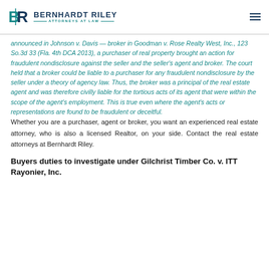BERNHARDT RILEY — ATTORNEYS AT LAW
announced in Johnson v. Davis — broker in Goodman v. Rose Realty West, Inc., 123 So.3d 33 (Fla. 4th DCA 2013), a purchaser of real property brought an action for fraudulent nondisclosure against the seller and the seller's agent and broker. The court held that a broker could be liable to a purchaser for any fraudulent nondisclosure by the seller under a theory of agency law. Thus, the broker was a principal of the real estate agent and was therefore civilly liable for the tortious acts of its agent that were within the scope of the agent's employment. This is true even where the agent's acts or representations are found to be fraudulent or deceitful.
Whether you are a purchaser, agent or broker, you want an experienced real estate attorney, who is also a licensed Realtor, on your side. Contact the real estate attorneys at Bernhardt Riley.
Buyers duties to investigate under Gilchrist Timber Co. v. ITT Rayonier, Inc.